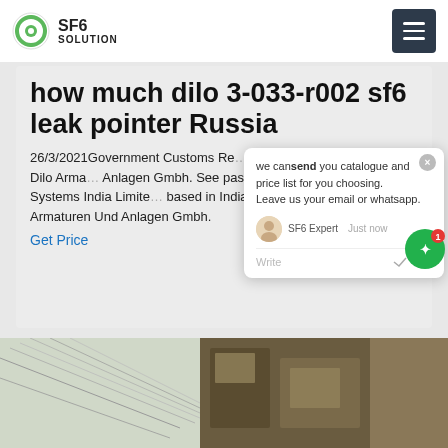SF6 SOLUTION
how much dilo 3-033-r002 sf6 leak pointer Russia
26/3/2021Government Customs Records Notifications available for Dilo Armaturen Und Anlagen Gmbh. See past imports to Products And Systems India Limited based in India. Follow future shipments from Dilo Armaturen Und Anlagen Gmbh.
Get Price
[Figure (screenshot): Chat popup overlay with message: we can send you catalogue and price list for you choosing. Leave us your email or whatsapp. SF6 Expert Just now. Write field with thumbs up and paperclip icons. Close button X in top right.]
[Figure (photo): Bottom portion of page showing a photograph with industrial cables/wires and machinery visible, partially obscured.]